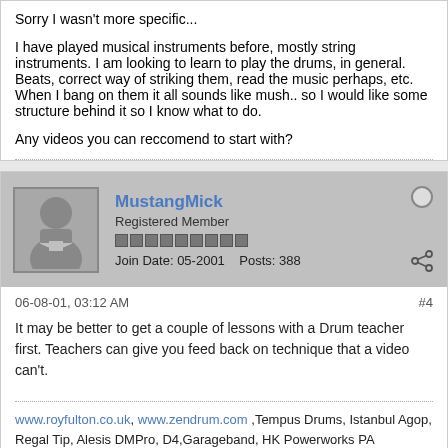Sorry I wasn't more specific...
I have played musical instruments before, mostly string instruments. I am looking to learn to play the drums, in general. Beats, correct way of striking them, read the music perhaps, etc. When I bang on them it all sounds like mush.. so I would like some structure behind it so I know what to do.
Any videos you can reccomend to start with?
MustangMick
Registered Member
Join Date: 05-2001    Posts: 388
06-08-01, 03:12 AM
#4
It may be better to get a couple of lessons with a Drum teacher first. Teachers can give you feed back on technique that a video can't.
www.royfulton.co.uk, www.zendrum.com ,Tempus Drums, Istanbul Agop, Regal Tip, Alesis DMPro, D4,Garageband, HK Powerworks PA